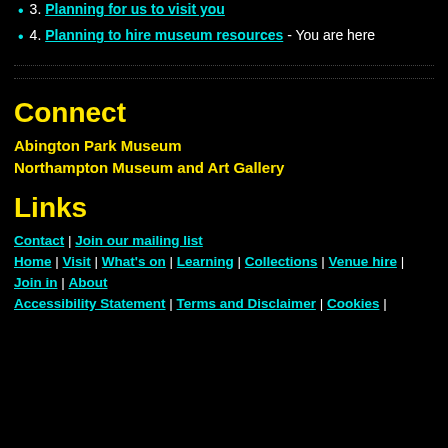3. Planning for us to visit you
4. Planning to hire museum resources - You are here
Connect
Abington Park Museum
Northampton Museum and Art Gallery
Links
Contact | Join our mailing list
Home | Visit | What's on | Learning | Collections | Venue hire | Join in | About
Accessibility Statement | Terms and Disclaimer | Cookies |